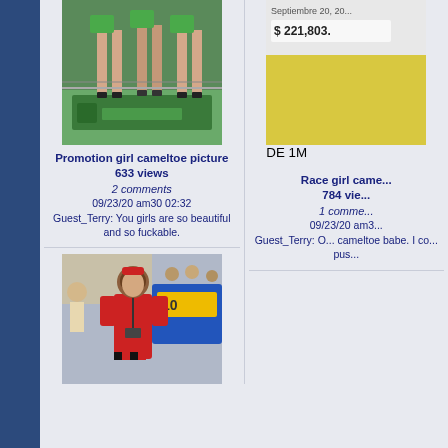[Figure (photo): Promotion girl photo showing legs on a stage with green MEGAMO branding banner]
Promotion girl cameltoe picture
633 views
2 comments
09/23/20 am30 02:32
Guest_Terry: You girls are so beautiful and so fuckable.
[Figure (photo): Race girl photo partially cropped, woman in yellow top and blue pants, scoreboard visible]
Race girl came...
784 vie...
1 comme...
09/23/20 am3...
Guest_Terry: O... cameltoe babe. I co... pus...
[Figure (photo): Race girl in red outfit with lanyard at a racing event, yellow/blue car in background]